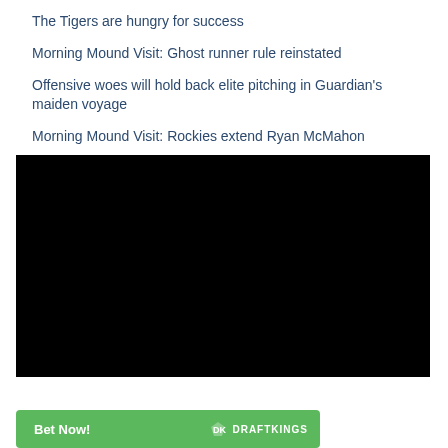The Tigers are hungry for success
Morning Mound Visit: Ghost runner rule reinstated
Offensive woes will hold back elite pitching in Guardian's maiden voyage
Morning Mound Visit: Rockies extend Ryan McMahon
[Figure (other): Black video/media embed placeholder]
[Figure (other): DraftKings advertisement banner with Bet Now button and DraftKings logo]